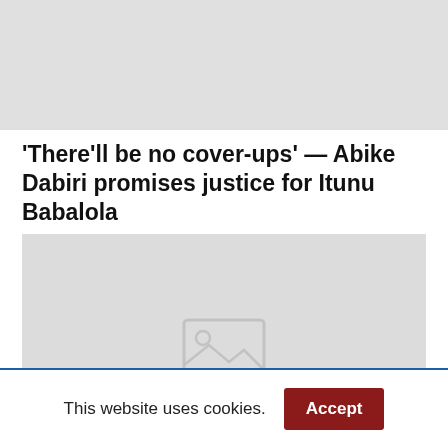[Figure (photo): Top image placeholder — gray rectangle, content not loaded]
‘There’ll be no cover-ups’ — Abike Dabiri promises justice for Itunu Babalola
[Figure (photo): Main article image placeholder — gray rectangle with broken image icon]
This website uses cookies.